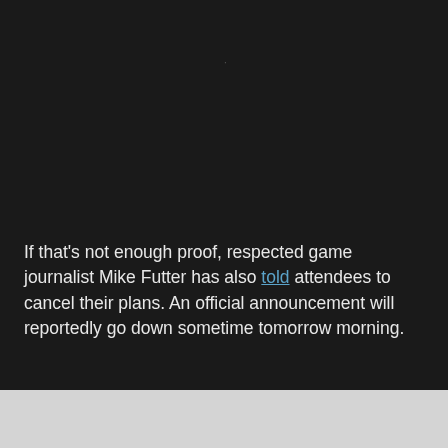If that's not enough proof, respected game journalist Mike Futter has also told attendees to cancel their plans. An official announcement will reportedly go down sometime tomorrow morning.